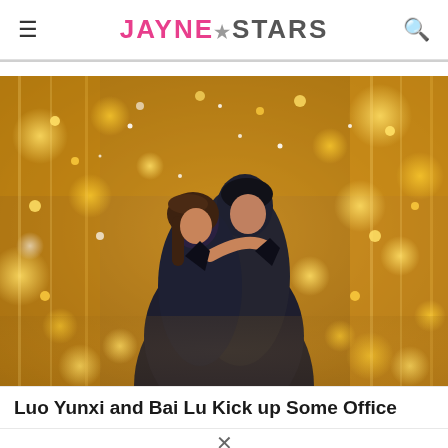Jayne Stars
[Figure (photo): Two people about to kiss outdoors surrounded by bokeh string lights in warm golden tones, with light snow falling. A woman with brown hair and a man in a dark coat are embracing.]
Luo Yunxi and Bai Lu Kick up Some Office